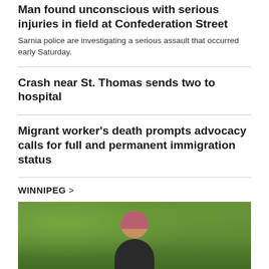Man found unconscious with serious injuries in field at Confederation Street
Sarnia police are investigating a serious assault that occurred early Saturday.
Crash near St. Thomas sends two to hospital
Migrant worker's death prompts advocacy calls for full and permanent immigration status
WINNIPEG >
[Figure (photo): Person wearing a pink/red head covering photographed outdoors in front of green trees and foliage.]